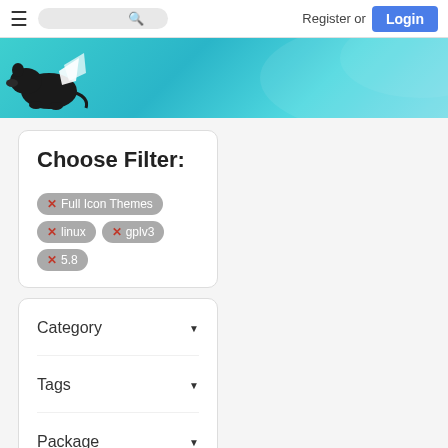Register or Login
[Figure (logo): Black rat/rodent mascot logo on teal gradient banner background]
Choose Filter:
Full Icon Themes
linux
gplv3
5.8
Category
Tags
Package